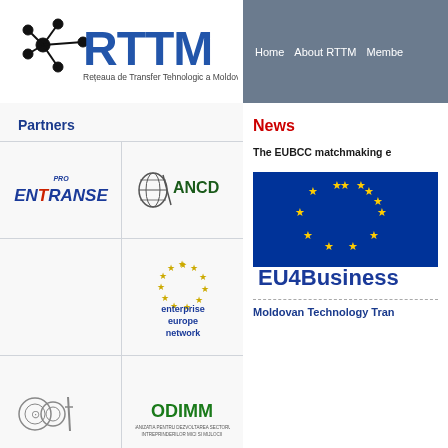[Figure (logo): RTTM network logo - Reteaua de Transfer Tehnologic a Moldovei with network icon]
Home   About RTTM   Membe...
Partners
[Figure (logo): PRO ENTRANSE logo]
[Figure (logo): ANCD logo with globe icon]
[Figure (logo): Enterprise Europe Network logo with stars]
[Figure (logo): CCI-like organization logo with circular emblem]
[Figure (logo): ODIMM logo]
News
The EUBCC matchmaking e...
[Figure (illustration): EU flag - blue background with yellow stars in circle, EU4Business text below]
Moldovan Technology Tran...